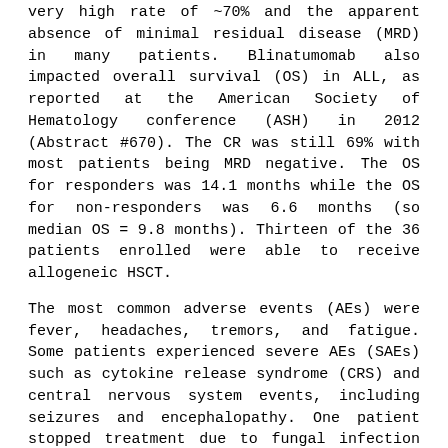very high rate of ~70% and the apparent absence of minimal residual disease (MRD) in many patients. Blinatumomab also impacted overall survival (OS) in ALL, as reported at the American Society of Hematology conference (ASH) in 2012 (Abstract #670). The CR was still 69% with most patients being MRD negative. The OS for responders was 14.1 months while the OS for non-responders was 6.6 months (so median OS = 9.8 months). Thirteen of the 36 patients enrolled were able to receive allogeneic HSCT.
The most common adverse events (AEs) were fever, headaches, tremors, and fatigue. Some patients experienced severe AEs (SAEs) such as cytokine release syndrome (CRS) and central nervous system events, including seizures and encephalopathy. One patient stopped treatment due to fungal infection leading to death. So, there is tox to consider.
A small study also looked at a sub-cohort of patients with MRD...